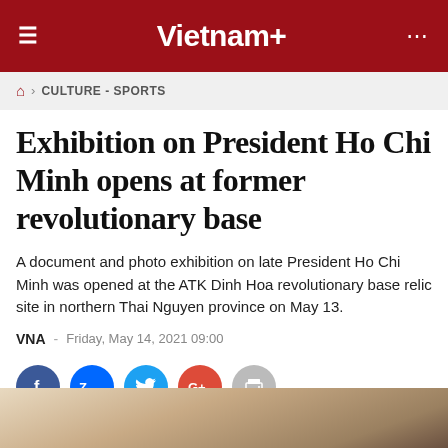Vietnam+
CULTURE - SPORTS
Exhibition on President Ho Chi Minh opens at former revolutionary base
A document and photo exhibition on late President Ho Chi Minh was opened at the ATK Dinh Hoa revolutionary base relic site in northern Thai Nguyen province on May 13.
VNA - Friday, May 14, 2021 09:00
[Figure (other): Social media sharing buttons: Facebook, Zalo, Twitter, Google+, Print]
[Figure (photo): Bottom portion of a photo showing what appears to be a document or exhibition display, partially visible]